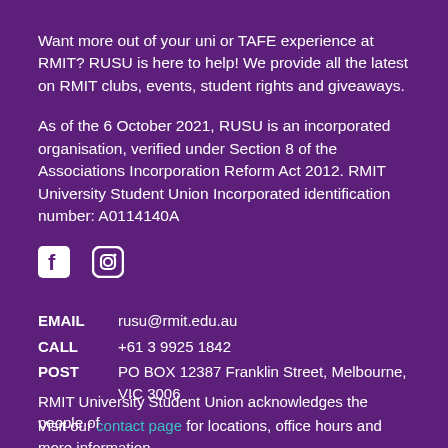Want more out of your uni or TAFE experience at RMIT? RUSU is here to help! We provide all the latest on RMIT clubs, events, student rights and giveaways.
As of the 6 October 2021, RUSU is an incorporated organisation, verified under Section 8 of the Associations Incorporation Reform Act 2012. RMIT University Student Union Incorporated identification number: A0114140A
[Figure (illustration): Facebook and Instagram social media icons in white]
| EMAIL | rusu@rmit.edu.au |
| CALL | +61 3 9925 1842 |
| POST | PO BOX 12387 Franklin Street, Melbourne, VIC 3006 |
Visit our contact page for locations, office hours and more information
RMIT University Student Union acknowledges the people of